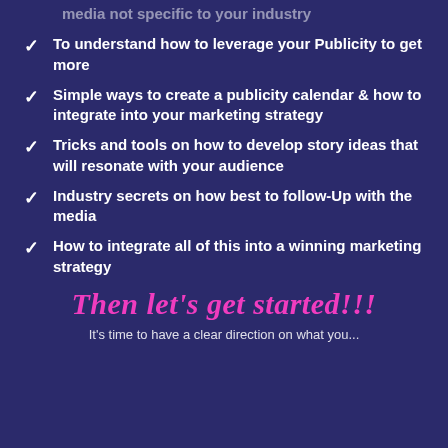media not specific to your industry
To understand how to leverage your Publicity to get more
Simple ways to create a publicity calendar & how to integrate into your marketing strategy
Tricks and tools on how to develop story ideas that will resonate with your audience
Industry secrets on how best to follow-Up with the media
How to integrate all of this into a winning marketing strategy
Then let's get started!!!
It's time to have a clear direction on what you...